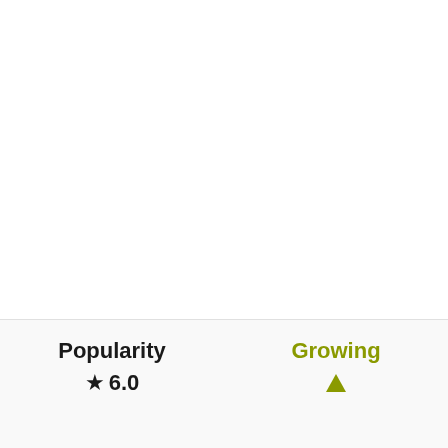Popularity
★ 6.0
Growing
[Figure (other): Upward pointing triangle arrow in olive/yellow-green color indicating growing trend]